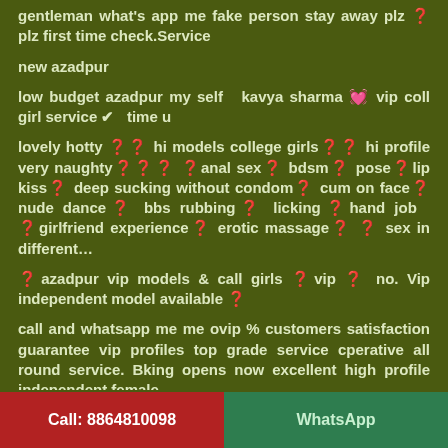gentleman what's app me fake person stay away plz ❓ plz first time check.Service
new azadpur
low budget azadpur my self   kavya sharma 💓 vip coll girl service ✔    time u
lovely hotty ❓❓ hi models college girls❓❓ hi profile very naughty❓❓❓ ❓anal sex❓ bdsm❓ pose❓lip kiss❓ deep sucking without condom❓ cum on face❓ nude dance❓ bbs rubbing❓ licking❓hand job  ❓girlfriend experience❓ erotic massage❓ ❓ sex in different…
❓azadpur vip models & call girls ❓vip ❓ no. Vip independent model available ❓
call and whatsapp me me ovip % customers satisfaction guarantee vip profiles top grade service cperative all round service. Bking opens now excellent high profile independent female
Call: 8864810098   WhatsApp